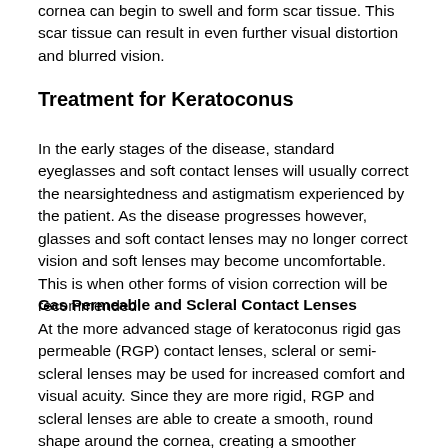cornea can begin to swell and form scar tissue. This scar tissue can result in even further visual distortion and blurred vision.
Treatment for Keratoconus
In the early stages of the disease, standard eyeglasses and soft contact lenses will usually correct the nearsightedness and astigmatism experienced by the patient. As the disease progresses however, glasses and soft contact lenses may no longer correct vision and soft lenses may become uncomfortable. This is when other forms of vision correction will be recommended.
Gas Permeable and Scleral Contact Lenses
At the more advanced stage of keratoconus rigid gas permeable (RGP) contact lenses, scleral or semi-scleral lenses may be used for increased comfort and visual acuity. Since they are more rigid, RGP and scleral lenses are able to create a smooth, round shape around the cornea, creating a smoother surface for better vision. Scleral or semi-scleral lenses have a larger diameter which covers the entire cornea and reaches over into the white part of the eye, which is known as the sclera. Many patients find these